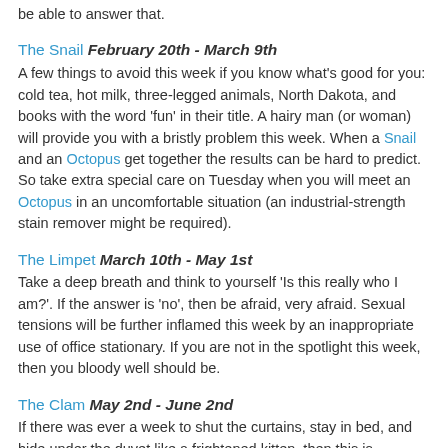be able to answer that.
The Snail February 20th - March 9th
A few things to avoid this week if you know what's good for you: cold tea, hot milk, three-legged animals, North Dakota, and books with the word 'fun' in their title. A hairy man (or woman) will provide you with a bristly problem this week. When a Snail and an Octopus get together the results can be hard to predict. So take extra special care on Tuesday when you will meet an Octopus in an uncomfortable situation (an industrial-strength stain remover might be required).
The Limpet March 10th - May 1st
Take a deep breath and think to yourself 'Is this really who I am?'. If the answer is 'no', then be afraid, very afraid. Sexual tensions will be further inflamed this week by an inappropriate use of office stationary. If you are not in the spotlight this week, then you bloody well should be.
The Clam May 2nd - June 2nd
If there was ever a week to shut the curtains, stay in bed, and hide under the duvet like a frightened kitten, then this is